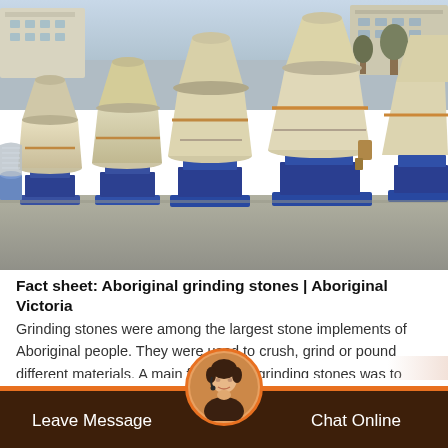[Figure (photo): Outdoor yard with multiple large industrial cone grinding/milling machines painted cream/beige on blue metal stands, industrial buildings in background]
Fact sheet: Aboriginal grinding stones | Aboriginal Victoria
Grinding stones were among the largest stone implements of Aboriginal people. They were used to crush, grind or pound different materials. A main function of grinding stones was to process many types of food for cooking. Bracken fern roots, bul…
Leave Message   Chat Online